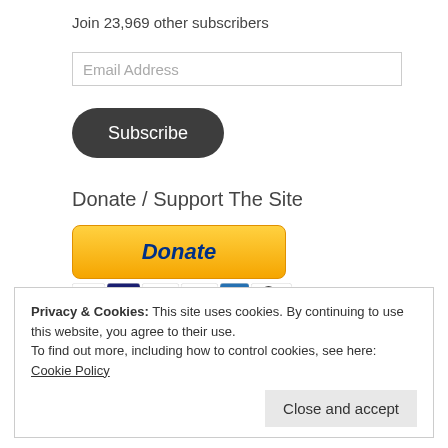Join 23,969 other subscribers
Email Address
Subscribe
Donate / Support The Site
[Figure (illustration): PayPal Donate button with payment card logos (Mastercard, Maestro, Visa, Visa Debit, Amex, Direct Debit)]
Privacy & Cookies: This site uses cookies. By continuing to use this website, you agree to their use.
To find out more, including how to control cookies, see here: Cookie Policy
Close and accept